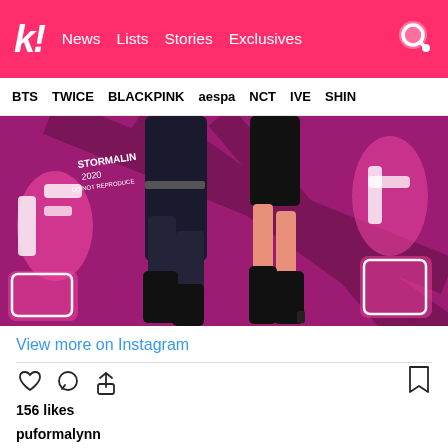k! News Lists Stories Exclusives
BTS TWICE BLACKPINK aespa NCT IVE SHIN
[Figure (illustration): Anime-style illustration of two figures in black outfits on a pink/magenta background with stylized graphic lettering. Artist signature: Stormalin 2020.]
View more on Instagram
156 likes
puformalynn